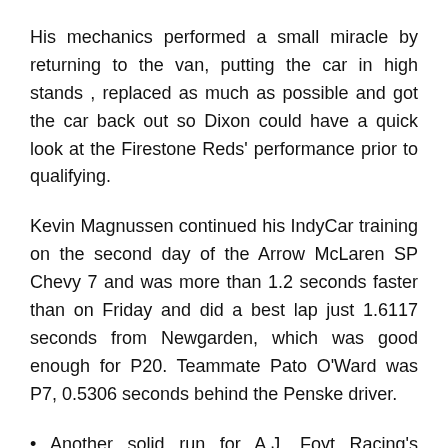His mechanics performed a small miracle by returning to the van, putting the car in high stands , replaced as much as possible and got the car back out so Dixon could have a quick look at the Firestone Reds' performance prior to qualifying.
Kevin Magnussen continued his IndyCar training on the second day of the Arrow McLaren SP Chevy 7 and was more than 1.2 seconds faster than on Friday and did a best lap just 1.6117 seconds from Newgarden, which was good enough for P20. Teammate Pato O'Ward was P7, 0.5306 seconds behind the Penske driver.
• Another solid run for A.J. Foyt Racing's Sebastien Bourdais in P8 with the # 14 Chevy.
• Nice job from Dale Coyne Racing with Ed Jones of Vasser